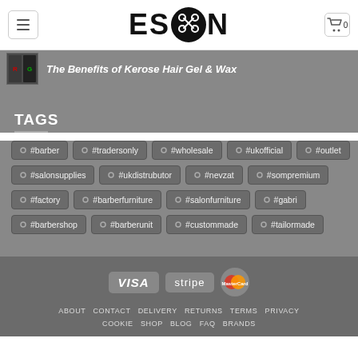[Figure (logo): ESON logo with scissors icon in circular black badge, bold text]
The Benefits of Kerose Hair Gel & Wax
TAGS
#barber
#tradersonly
#wholesale
#ukofficial
#outlet
#salonsupplies
#ukdistrubutor
#nevzat
#sompremium
#factory
#barberfurniture
#salonfurniture
#gabri
#barbershop
#barberunit
#custommade
#tailormade
[Figure (logo): Payment icons: VISA, stripe, MasterCard]
ABOUT  CONTACT  DELIVERY  RETURNS  TERMS  PRIVACY  COOKIE  SHOP  BLOG  FAQ  BRANDS